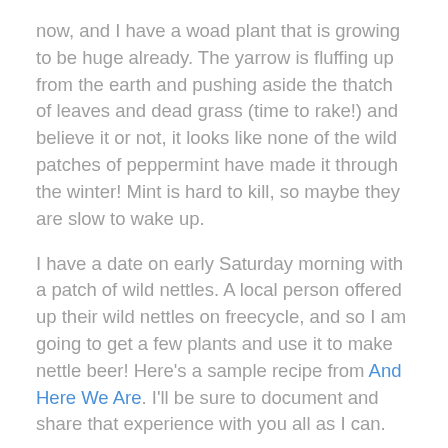now, and I have a woad plant that is growing to be huge already.  The yarrow is fluffing up from the earth and pushing aside the thatch of leaves and dead grass (time to rake!) and believe it or not, it looks like none of the wild patches of peppermint have made it through the winter! Mint is hard to kill, so maybe they are slow to wake up.
I have a date on early Saturday morning with a patch of wild nettles. A local person offered up their wild nettles on freecycle, and so I am going to get a few plants and use it to make nettle beer! Here's a sample recipe from And Here We Are. I'll be sure to document and share that experience with you all as I can.
But....it is 33 degrees outside this morning and I must remember that Spring does not equal immediate warmth, though I often wish it does!  There will be time soon enough for tank tops and